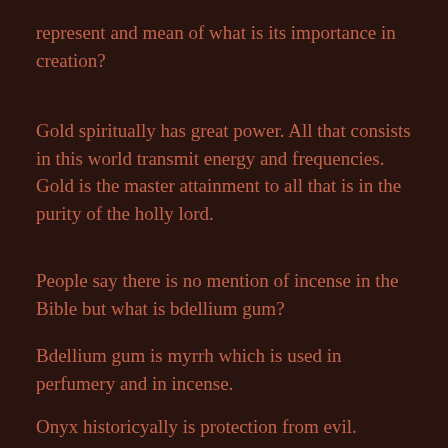represent and mean of what is its importance in creation?
Gold spiritually has great power. All that consists in this world transmit energy and frequencies. Gold is the master attainment to all that is in the purity of the holly lord.
People say there is no mention of incense in the Bible but what is bdellium gum?
Bdellium gum is myrrh which is used in perfumery and in incense.
Onyx historicyally is protection from evil.
Creates a strong connection between earth and the...